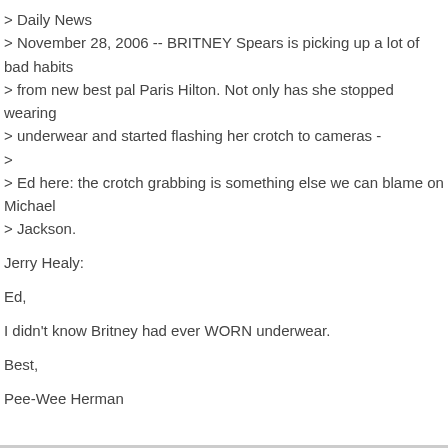> Daily News
> November 28, 2006 -- BRITNEY Spears is picking up a lot of bad habits
> from new best pal Paris Hilton. Not only has she stopped wearing
> underwear and started flashing her crotch to cameras -
>
> Ed here: the crotch grabbing is something else we can blame on Michael
> Jackson.
Jerry Healy:
Ed,
I didn't know Britney had ever WORN underwear.
Best,
Pee-Wee Herman